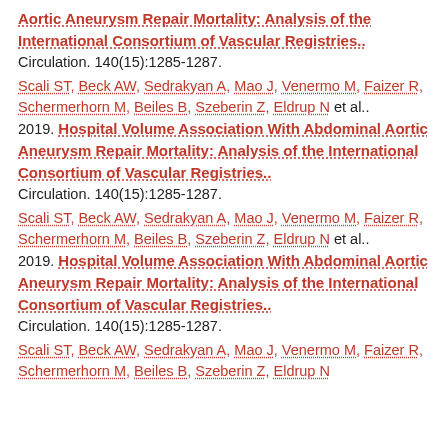Aortic Aneurysm Repair Mortality: Analysis of the International Consortium of Vascular Registries.. Circulation. 140(15):1285-1287.
Scali ST, Beck AW, Sedrakyan A, Mao J, Venermo M, Faizer R, Schermerhorn M, Beiles B, Szeberin Z, Eldrup N et al.. 2019. Hospital Volume Association With Abdominal Aortic Aneurysm Repair Mortality: Analysis of the International Consortium of Vascular Registries.. Circulation. 140(15):1285-1287.
Scali ST, Beck AW, Sedrakyan A, Mao J, Venermo M, Faizer R, Schermerhorn M, Beiles B, Szeberin Z, Eldrup N et al.. 2019. Hospital Volume Association With Abdominal Aortic Aneurysm Repair Mortality: Analysis of the International Consortium of Vascular Registries.. Circulation. 140(15):1285-1287.
Scali ST, Beck AW, Sedrakyan A, Mao J, Venermo M, Faizer R, Schermerhorn M, Beiles B, Szeberin Z, Eldrup N et al..